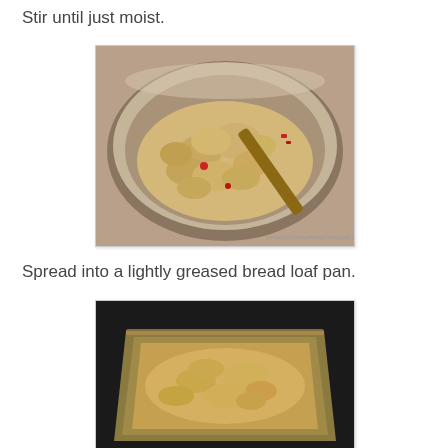Stir until just moist.
[Figure (photo): A glass mixing bowl filled with thick oatmeal batter being stirred with a wooden spoon with a red handle]
Spread into a lightly greased bread loaf pan.
[Figure (photo): A gold/tan bread loaf pan filled with oatmeal batter, viewed from above at an angle against a dark background]